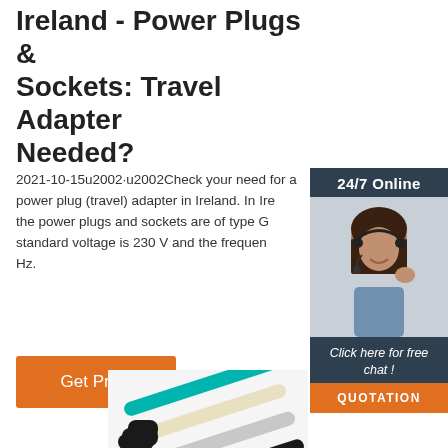Ireland - Power Plugs & Sockets: Travel Adapter Needed?
2021-10-15u2002·u2002Check your need for a power plug (travel) adapter in Ireland. In Ireland the power plugs and sockets are of type G. The standard voltage is 230 V and the frequency is 50 Hz.
[Figure (photo): Orange 'Get Price' button]
[Figure (infographic): Advertisement sidebar: 24/7 Online chat service with a woman wearing headset. Includes 'Click here for free chat!' text and orange QUOTATION button.]
[Figure (photo): Colorful electrical cables/wires visible at the bottom of the page]